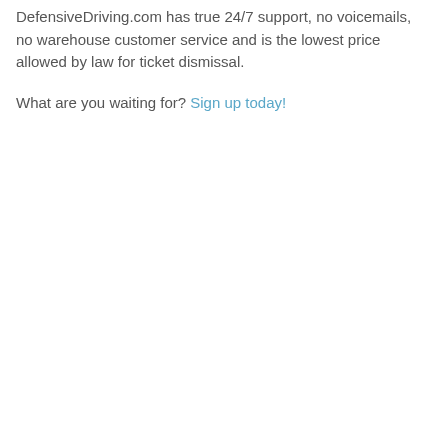DefensiveDriving.com has true 24/7 support, no voicemails, no warehouse customer service and is the lowest price allowed by law for ticket dismissal.
What are you waiting for? Sign up today!